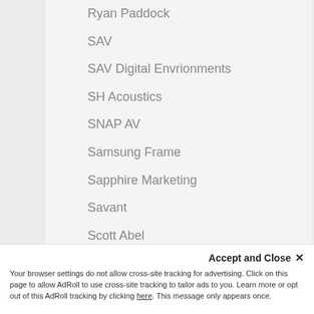Ryan Paddock
SAV
SAV Digital Envrionments
SH Acoustics
SNAP AV
Samsung Frame
Sapphire Marketing
Savant
Scott Abel
Sean Weiner
Security Industry
Service Tech
Seth Evenson
Shaun Schuetz
Shawn Hansson
Accept and Close ✕
Your browser settings do not allow cross-site tracking for advertising. Click on this page to allow AdRoll to use cross-site tracking to tailor ads to you. Learn more or opt out of this AdRoll tracking by clicking here. This message only appears once.